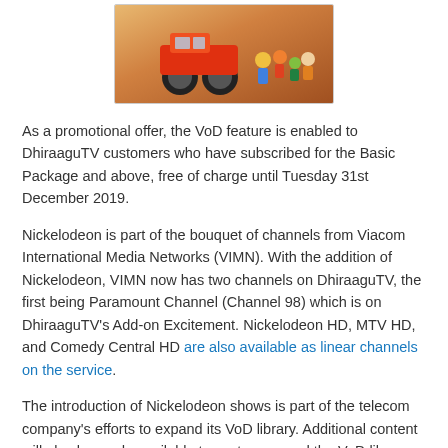[Figure (photo): Nickelodeon animated characters promotional image including a monster truck and cartoon characters on an orange/warm background]
As a promotional offer, the VoD feature is enabled to DhiraaguTV customers who have subscribed for the Basic Package and above, free of charge until Tuesday 31st December 2019.
Nickelodeon is part of the bouquet of channels from Viacom International Media Networks (VIMN). With the addition of Nickelodeon, VIMN now has two channels on DhiraaguTV, the first being Paramount Channel (Channel 98) which is on DhiraaguTV's Add-on Excitement. Nickelodeon HD, MTV HD, and Comedy Central HD are also available as linear channels on the service.
The introduction of Nickelodeon shows is part of the telecom company's efforts to expand its VoD library. Additional content will also be made available to customers and the VoD library will be enriched with both local and international content. VoD is an innovative feature that will redefine how